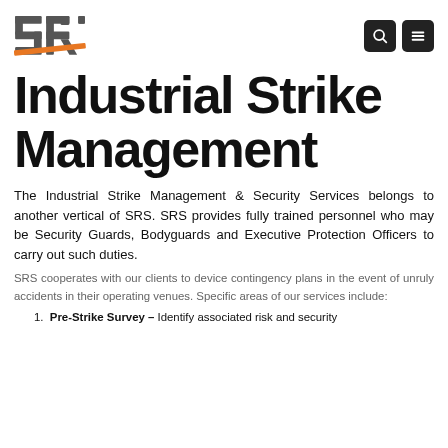SRS logo and navigation icons
Industrial Strike Management
The Industrial Strike Management & Security Services belongs to another vertical of SRS. SRS provides fully trained personnel who may be Security Guards, Bodyguards and Executive Protection Officers to carry out such duties.
SRS cooperates with our clients to device contingency plans in the event of unruly accidents in their operating venues. Specific areas of our services include:
Pre-Strike Survey – Identify associated risk and security